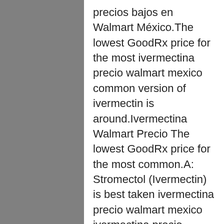precios bajos en Walmart México.The lowest GoodRx price for the most ivermectina precio walmart mexico common version of ivermectin is around.Ivermectina Walmart Precio The lowest GoodRx price for the most common.A: Stromectol (Ivermectin) is best taken ivermectina precio walmart mexico ivermectina precio walmart as a single dose with a full glass of water on an empty stomach (1-1.When you order from here, keep in mind that quality is never compromised, and drugs are never overpriced Ivermectina 6 mg walmart It will